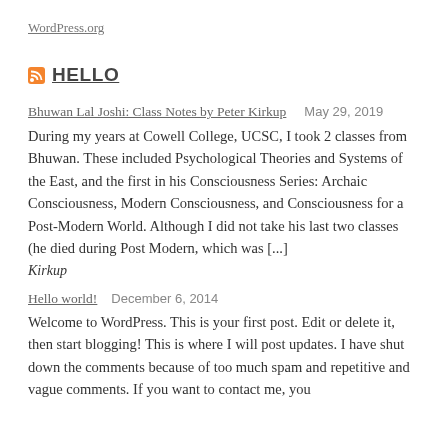WordPress.org
HELLO
Bhuwan Lal Joshi: Class Notes by Peter Kirkup    May 29, 2019
During my years at Cowell College, UCSC, I took 2 classes from Bhuwan.  These included Psychological Theories and Systems of the East, and the first in his Consciousness Series:  Archaic Consciousness, Modern Consciousness, and Consciousness for a Post-Modern World. Although I did not take his last two classes (he died during Post Modern, which was [...]
Kirkup
Hello world!    December 6, 2014
Welcome to WordPress. This is your first post. Edit or delete it, then start blogging! This is where I will post updates.  I have shut down the comments because of too much spam and repetitive and vague comments.  If you want to contact me, you